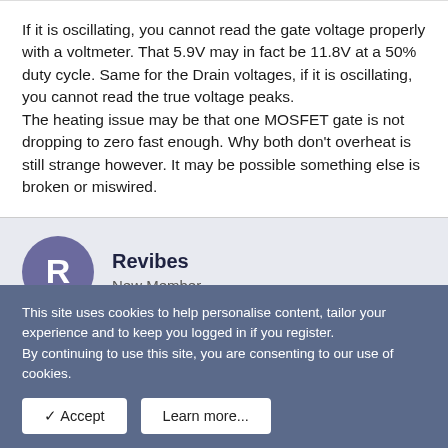If it is oscillating, you cannot read the gate voltage properly with a voltmeter. That 5.9V may in fact be 11.8V at a 50% duty cycle. Same for the Drain voltages, if it is oscillating, you cannot read the true voltage peaks.
The heating issue may be that one MOSFET gate is not dropping to zero fast enough. Why both don't overheat is still strange however. It may be possible something else is broken or miswired.
Revibes
New Member
May 8, 2022
#22
This site uses cookies to help personalise content, tailor your experience and to keep you logged in if you register.
By continuing to use this site, you are consenting to our use of cookies.